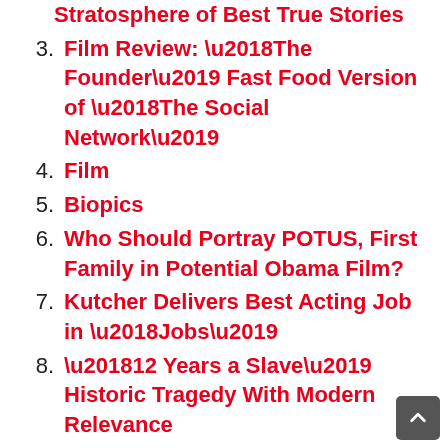Stratosphere of Best True Stories
3. Film Review: ‘The Founder’ Fast Food Version of ‘The Social Network’
4. Film
5. Biopics
6. Who Should Portray POTUS, First Family in Potential Obama Film?
7. Kutcher Delivers Best Acting Job in ‘Jobs’
8. ‘12 Years a Slave’ Historic Tragedy With Modern Relevance
9. ‘Mandela: Long Walk to Freedom’ Doesn’t Sugarcoat Genius, Flaws
10. Intense an Understatement for ‘Lone Survivor’